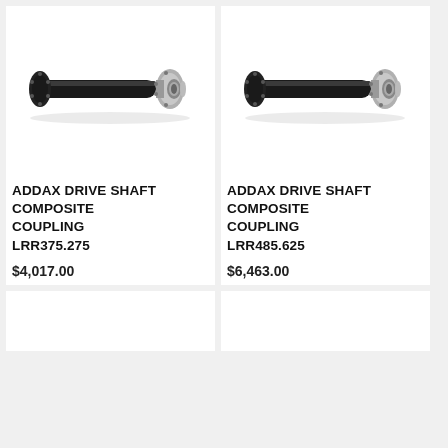[Figure (photo): Addax drive shaft composite coupling product photo — black cylindrical shaft with silver/chrome flanged coupling end]
ADDAX DRIVE SHAFT COMPOSITE COUPLING LRR375.275
$4,017.00
[Figure (photo): Addax drive shaft composite coupling product photo — black cylindrical shaft with silver/chrome flanged coupling end]
ADDAX DRIVE SHAFT COMPOSITE COUPLING LRR485.625
$6,463.00
[Figure (photo): Partial product card — bottom portion cut off]
[Figure (photo): Partial product card — bottom portion cut off]